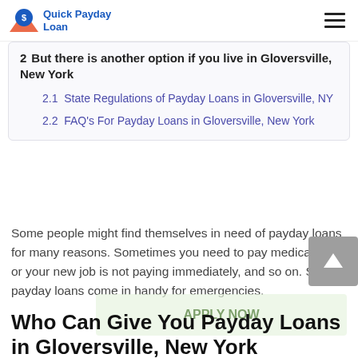Quick Payday Loan
2  But there is another option if you live in Gloversville, New York
2.1  State Regulations of Payday Loans in Gloversville, NY
2.2  FAQ's For Payday Loans in Gloversville, New York
Some people might find themselves in need of payday loans for many reasons. Sometimes you need to pay medical bills, or your new job is not paying immediately, and so on. Shortly, payday loans come in handy for emergencies.
Who Can Give You Payday Loans in Gloversville, New York